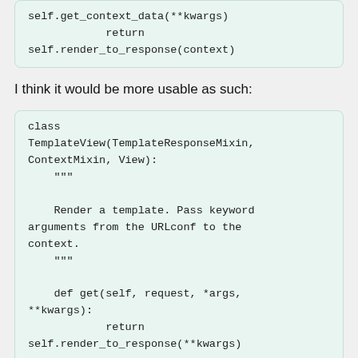self.get_context_data(**kwargs)
            return self.render_to_response(context)
I think it would be more usable as such:
class TemplateView(TemplateResponseMixin, ContextMixin, View):
    """
    Render a template. Pass keyword arguments from the URLconf to the context.
    """

    def get(self, request, *args, **kwargs):
            return self.render_to_response(**kwargs)

    def render_to_response(self,
    context=None, **kwargs):